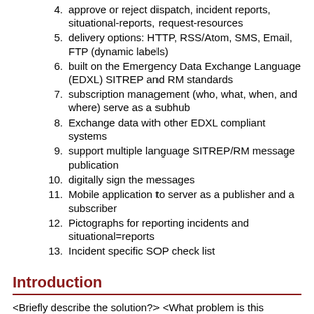4. approve or reject dispatch, incident reports, situational-reports, request-resources
5. delivery options: HTTP, RSS/Atom, SMS, Email, FTP (dynamic labels)
6. built on the Emergency Data Exchange Language (EDXL) SITREP and RM standards
7. subscription management (who, what, when, and where) serve as a subhub
8. Exchange data with other EDXL compliant systems
9. support multiple language SITREP/RM message publication
10. digitally sign the messages
11. Mobile application to server as a publisher and a subscriber
12. Pictographs for reporting incidents and situational=reports
13. Incident specific SOP check list
Introduction
<Briefly describe the solution?> <What problem is this